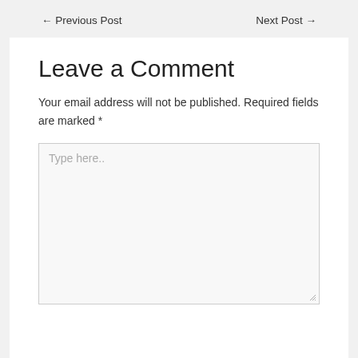← Previous Post    Next Post →
Leave a Comment
Your email address will not be published. Required fields are marked *
[Figure (other): A comment text area input box with placeholder text 'Type here..' and a resize handle in the bottom right corner]